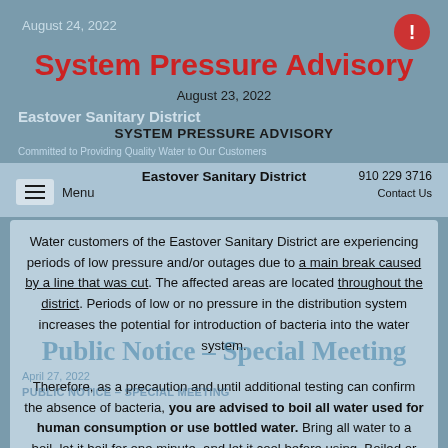August 24, 2022
System Pressure Advisory
August 23, 2022
Eastover Sanitary District
SYSTEM PRESSURE ADVISORY
Committed to Providing Quality Water to Our Customers
Menu
Eastover Sanitary District
910 229 3716
Contact Us
Water customers of the Eastover Sanitary District are experiencing periods of low pressure and/or outages due to a main break caused by a line that was cut. The affected areas are located throughout the district. Periods of low or no pressure in the distribution system increases the potential for introduction of bacteria into the water system.
Public Notice – Special Meeting
April 27, 2022
PUBLIC NOTICE – SPECIAL MEETING
Therefore, as a precaution and until additional testing can confirm the absence of bacteria, you are advised to boil all water used for human consumption or use bottled water. Bring all water to a boil, let it boil for one minute, and let it cool before using. Boiled or bottled water should be used for drinking, making ice, brushing teeth, washing dishes, and